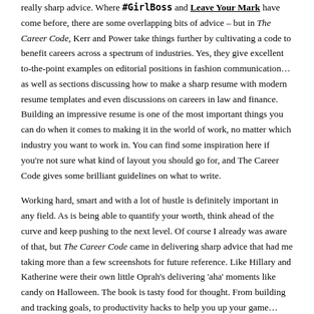really sharp advice. Where #GirlBoss and Leave Your Mark have come before, there are some overlapping bits of advice – but in The Career Code, Kerr and Power take things further by cultivating a code to benefit careers across a spectrum of industries. Yes, they give excellent to-the-point examples on editorial positions in fashion communication…as well as sections discussing how to make a sharp resume with modern resume templates and even discussions on careers in law and finance. Building an impressive resume is one of the most important things you can do when it comes to making it in the world of work, no matter which industry you want to work in. You can find some inspiration here if you're not sure what kind of layout you should go for, and The Career Code gives some brilliant guidelines on what to write.
Working hard, smart and with a lot of hustle is definitely important in any field. As is being able to quantify your worth, think ahead of the curve and keep pushing to the next level. Of course I already was aware of that, but The Career Code came in delivering sharp advice that had me taking more than a few screenshots for future reference. Like Hillary and Katherine were their own little Oprah's delivering 'aha' moments like candy on Halloween. The book is tasty food for thought. From building and tracking goals, to productivity hacks to help you up your game…each tidbit of advice they give is something you can directly apply to yourself, immediately.